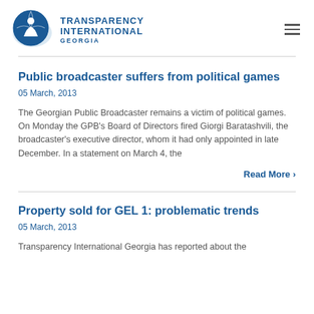[Figure (logo): Transparency International Georgia logo with globe icon and text]
Public broadcaster suffers from political games
05 March, 2013
The Georgian Public Broadcaster remains a victim of political games. On Monday the GPB's Board of Directors fired Giorgi Baratashvili, the broadcaster's executive director, whom it had only appointed in late December. In a statement on March 4, the
Read More ›
Property sold for GEL 1: problematic trends
05 March, 2013
Transparency International Georgia has reported about the